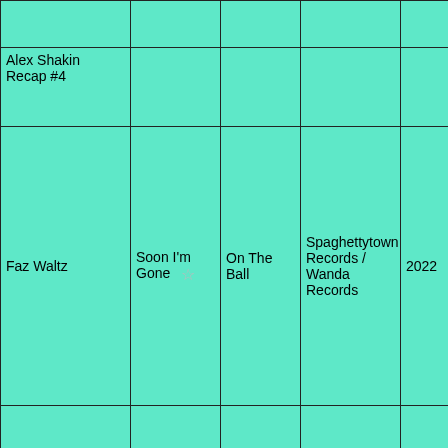|  |  |  |  |  |  |  |
| Alex Shakin Recap #4 |  |  |  |  |  |  |
| Faz Waltz | Soon I'm Gone ☆ | On The Ball | Spaghettytown Records / Wanda Records | 2022 | LP |  |
|  |  |  |  |  |  |  |